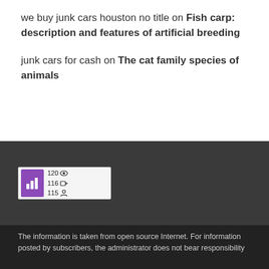we buy junk cars houston no title on Fish carp: description and features of artificial breeding
junk cars for cash on The cat family species of animals
[Figure (infographic): A small stats widget with a purple bar-chart icon on the left and three rows of statistics: 120 (eye icon), 116 (arrow/share icon), 115 (person icon)]
The information is taken from open source Internet. For information posted by subscribers, the administrator does not bear responsibility